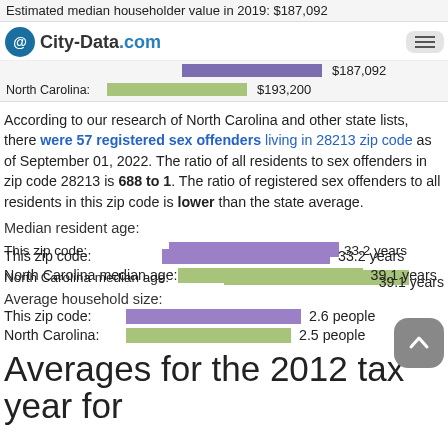Estimated median householder value in 2019: $187,092 | North Carolina: $193,200
According to our research of North Carolina and other state lists, there were 57 registered sex offenders living in 28213 zip code as of September 01, 2022. The ratio of all residents to sex offenders in zip code 28213 is 688 to 1. The ratio of registered sex offenders to all residents in this zip code is lower than the state average.
Median resident age:
[Figure (bar-chart): Median resident age]
Average household size:
[Figure (bar-chart): Average household size]
Averages for the 2012 tax year for